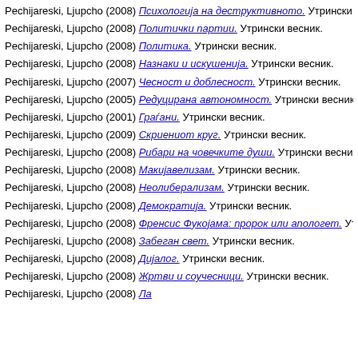Pechijareski, Ljupcho (2008) Психологија на деструктивното. Утрински весник.
Pechijareski, Ljupcho (2008) Политички партии. Утрински весник.
Pechijareski, Ljupcho (2008) Политика. Утрински весник.
Pechijareski, Ljupcho (2008) Назнаки и искушенија. Утрински весник.
Pechijareski, Ljupcho (2007) Чесност и доблесност. Утрински весник.
Pechijareski, Ljupcho (2005) Редуцирана автономност. Утрински весник.
Pechijareski, Ljupcho (2001) Граѓани. Утрински весник.
Pechijareski, Ljupcho (2009) Скриениот круг. Утрински весник.
Pechijareski, Ljupcho (2008) Рибари на човечките души. Утрински весник.
Pechijareski, Ljupcho (2008) Макијавелизам. Утрински весник.
Pechijareski, Ljupcho (2008) Неолиберализам. Утрински весник.
Pechijareski, Ljupcho (2008) Демократија. Утрински весник.
Pechijareski, Ljupcho (2008) Френсис Фукојама: пророк или апологет. Утрински весник.
Pechijareski, Ljupcho (2008) Забеган свет. Утрински весник.
Pechijareski, Ljupcho (2008) Дијалог. Утрински весник.
Pechijareski, Ljupcho (2008) Жртви и соучесници. Утрински весник.
Pechijareski, Ljupcho (2008) [partially visible]